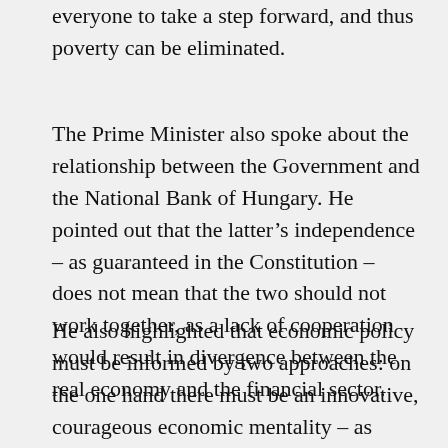everyone to take a step forward, and thus poverty can be eliminated.
The Prime Minister also spoke about the relationship between the Government and the National Bank of Hungary. He pointed out that the latter's independence – as guaranteed in the Constitution – does not mean that the two should not work together, as a lack of cooperation would result in divergence between the real economy and the financial sector.
He also highlighted that economic policy must be informed by two approaches: on the one hand there must be an innovative, courageous economic mentality – as represented by Mr. Matolcsy; and on the other there must be a